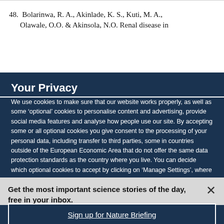48.  Bolarinwa, R. A., Akinlade, K. S., Kuti, M. A., Olawale, O.O. & Akinsola, N.O. Renal disease in...
Your Privacy
We use cookies to make sure that our website works properly, as well as some ‘optional’ cookies to personalise content and advertising, provide social media features and analyse how people use our site. By accepting some or all optional cookies you give consent to the processing of your personal data, including transfer to third parties, some in countries outside of the European Economic Area that do not offer the same data protection standards as the country where you live. You can decide which optional cookies to accept by clicking on ‘Manage Settings’, where you can
Get the most important science stories of the day, free in your inbox.
Sign up for Nature Briefing